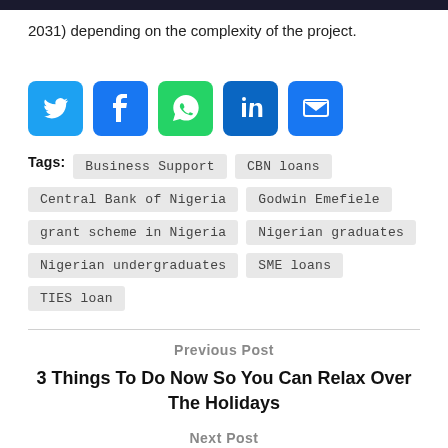2031) depending on the complexity of the project.
[Figure (infographic): Row of 5 social media share icons: Twitter (blue bird), Facebook (blue f), WhatsApp (green phone), LinkedIn (blue in), Email (blue envelope)]
Tags: Business Support  CBN loans  Central Bank of Nigeria  Godwin Emefiele  grant scheme in Nigeria  Nigerian graduates  Nigerian undergraduates  SME loans  TIES loan
Previous Post
3 Things To Do Now So You Can Relax Over The Holidays
Next Post